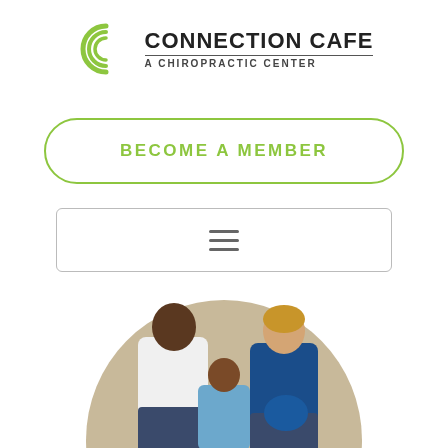[Figure (logo): Connection Cafe - A Chiropractic Center logo with green concentric C arc icon and bold text]
BECOME A MEMBER
[Figure (other): Hamburger menu icon (three horizontal lines) inside a rounded rectangle button]
[Figure (photo): A smiling family of three — a man in a white polo shirt, a pregnant woman in a blue top, and a young boy in a plaid shirt — posed together in a circular beige-background portrait]